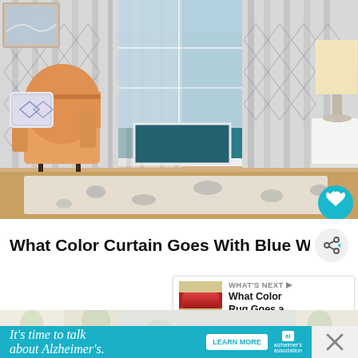[Figure (photo): Living room scene with patterned gray curtains, teal walls, beige armchair with blue diamond pillow, floor lamp on right side, patterned area rug. Heart/favorite button in bottom right corner.]
What Color Curtain Goes With Blue Walls? - 16 Ide
[Figure (screenshot): What's Next panel showing thumbnail of red sofa image with label 'WHAT'S NEXT' and title 'What Color Rug Goes a...']
[Figure (photo): Partial view of a room with floral/botanical curtains in cream, green, and blue tones.]
It's time to talk about Alzheimer's.